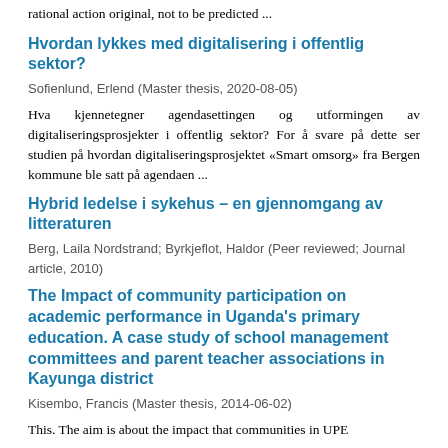rational action original, not to be predicted ...
Hvordan lykkes med digitalisering i offentlig sektor?
Sofienlund, Erlend (Master thesis, 2020-08-05)
Hva kjennetegner agendasettingen og utformingen av digitaliseringsprosjekter i offentlig sektor? For å svare på dette ser studien på hvordan digitaliseringsprosjektet «Smart omsorg» fra Bergen kommune ble satt på agendaen ...
Hybrid ledelse i sykehus – en gjennomgang av litteraturen
Berg, Laila Nordstrand; Byrkjeflot, Haldor (Peer reviewed; Journal article, 2010)
The Impact of community participation on academic performance in Uganda's primary education. A case study of school management committees and parent teacher associations in Kayunga district
Kisembo, Francis (Master thesis, 2014-06-02)
This. The aim is about the impact that communities in UPE ...